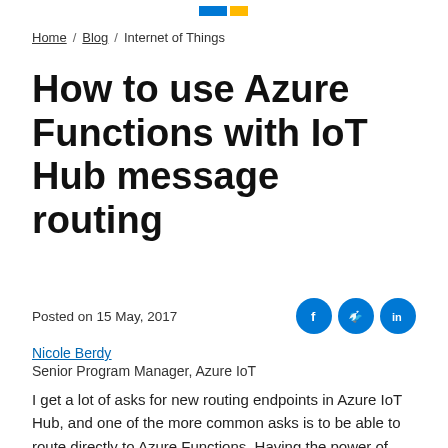[logo bar with blue and yellow rectangles]
Home / Blog / Internet of Things
How to use Azure Functions with IoT Hub message routing
Posted on 15 May, 2017
Nicole Berdy
Senior Program Manager, Azure IoT
I get a lot of asks for new routing endpoints in Azure IoT Hub, and one of the more common asks is to be able to route directly to Azure Functions. Having the power of serverless compute at your fingertips is very powerful and allows you to do all sorts of creative things with your IoT...